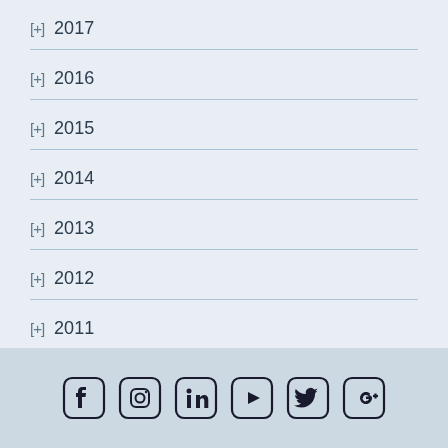[+] 2017
[+] 2016
[+] 2015
[+] 2014
[+] 2013
[+] 2012
[+] 2011
Social media icons: Facebook, Instagram, LinkedIn, YouTube, Twitter, Google+